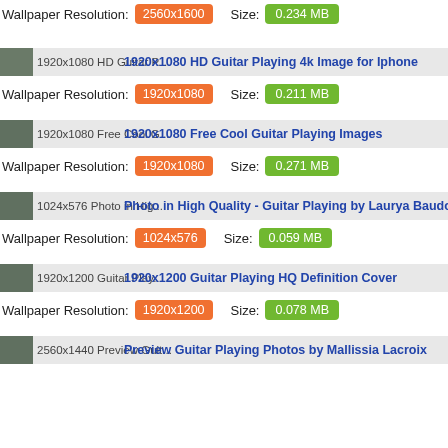Wallpaper Resolution: 2560x1600   Size: 0.234 MB
[Figure (screenshot): 1920x1080 HD Guitar Playing 4k Image for Iphone wallpaper thumbnail and title bar]
Wallpaper Resolution: 1920x1080   Size: 0.211 MB
[Figure (screenshot): 1920x1080 Free Cool Guitar Playing Images wallpaper thumbnail and title bar]
Wallpaper Resolution: 1920x1080   Size: 0.271 MB
[Figure (screenshot): 1024x576 Photo in High Quality - Guitar Playing by Laurya Baudone wallpaper thumbnail and title bar]
Wallpaper Resolution: 1024x576   Size: 0.059 MB
[Figure (screenshot): 1920x1200 Guitar Playing HQ Definition Cover wallpaper thumbnail and title bar]
Wallpaper Resolution: 1920x1200   Size: 0.078 MB
[Figure (screenshot): 2560x1440 Preview Guitar Playing Photos by Mallissia Lacroix wallpaper thumbnail and title bar]